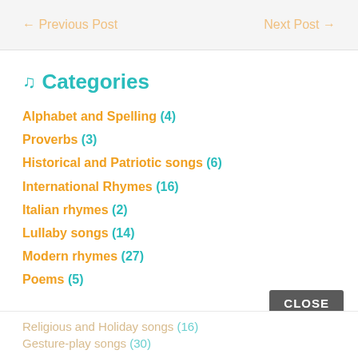← Previous Post    Next Post →
♫ Categories
Alphabet and Spelling (4)
Proverbs (3)
Historical and Patriotic songs (6)
International Rhymes (16)
Italian rhymes (2)
Lullaby songs (14)
Modern rhymes (27)
Poems (5)
Religious and Holiday songs (16)
Gesture-play songs (30)